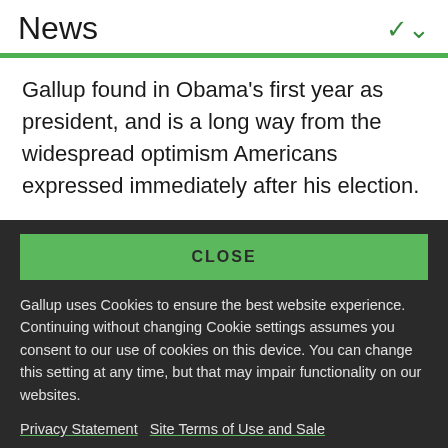News
Gallup found in Obama's first year as president, and is a long way from the widespread optimism Americans expressed immediately after his election.
CLOSE
Gallup uses Cookies to ensure the best website experience. Continuing without changing Cookie settings assumes you consent to our use of cookies on this device. You can change this setting at any time, but that may impair functionality on our websites.
Privacy Statement   Site Terms of Use and Sale
Product Terms of Use   Adjust your cookie settings.